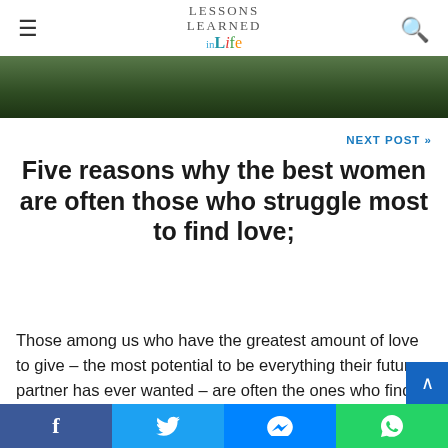Lessons Learned in Life
[Figure (photo): Partial hero/banner image showing a dark green outdoor scene, cropped at top of content area]
NEXT POST »
Five reasons why the best women are often those who struggle most to find love;
Those among us who have the greatest amount of love to give – the most potential to be everything their future partner has ever wanted – are often the ones who find it hardest to find the thing we all crave so much,
Facebook | Twitter | Messenger | WhatsApp social share buttons